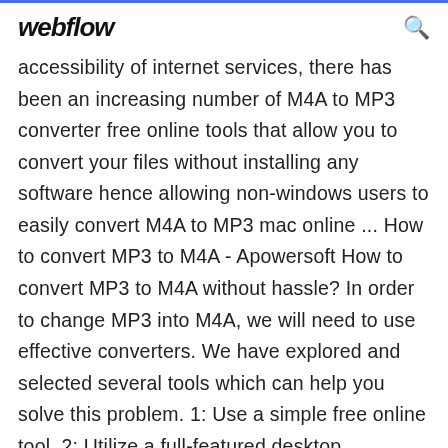webflow
accessibility of internet services, there has been an increasing number of M4A to MP3 converter free online tools that allow you to convert your files without installing any software hence allowing non-windows users to easily convert M4A to MP3 mac online ... How to convert MP3 to M4A - Apowersoft How to convert MP3 to M4A without hassle? In order to change MP3 into M4A, we will need to use effective converters. We have explored and selected several tools which can help you solve this problem. 1: Use a simple free online tool. 2: Utilize a full-featured desktop converter. 3: Default way by using iTunes. 1 Get M4a To Mp3 Converter 15.1 APK | Download APK For Android